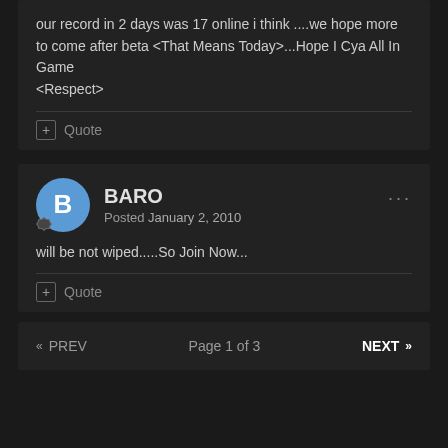our record in 2 days was 17 online i think ....we hope more to come after beta <That Means Today>...Hope I Cya All In Game
<Respect>
+ Quote
BARO
Posted January 2, 2010
will be not wiped.....So Join Now...
+ Quote
« PREV   Page 1 of 3   NEXT »